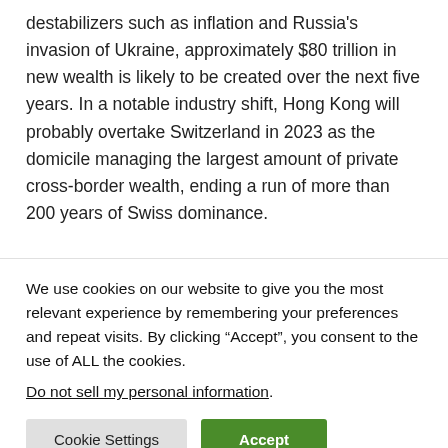destabilizers such as inflation and Russia's invasion of Ukraine, approximately $80 trillion in new wealth is likely to be created over the next five years. In a notable industry shift, Hong Kong will probably overtake Switzerland in 2023 as the domicile managing the largest amount of private cross-border wealth, ending a run of more than 200 years of Swiss dominance.
“Wealth development is resoundingly resilient, and even against the backdrop of geopolitical turmoil the growth
We use cookies on our website to give you the most relevant experience by remembering your preferences and repeat visits. By clicking “Accept”, you consent to the use of ALL the cookies.
Do not sell my personal information.